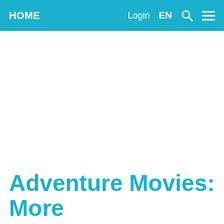HOME  Login  EN
Adventure Movies: More